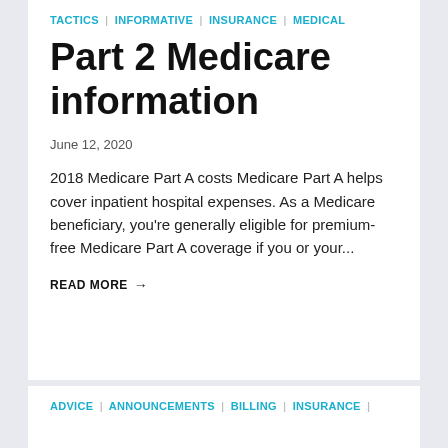TACTICS | INFORMATIVE | INSURANCE | MEDICAL
Part 2 Medicare information
June 12, 2020
2018 Medicare Part A costs Medicare Part A helps cover inpatient hospital expenses. As a Medicare beneficiary, you're generally eligible for premium-free Medicare Part A coverage if you or your...
READ MORE →
ADVICE | ANNOUNCEMENTS | BILLING | INSURANCE |